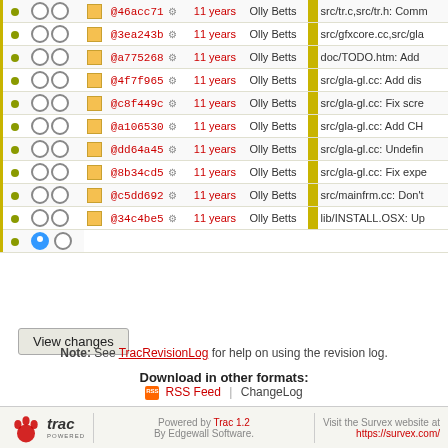|  |  |  | Rev |  | Age | Author | Log Message |
| --- | --- | --- | --- | --- | --- | --- | --- |
| ● | ○ | ○ | □ | @46acc71 | ⚙ | 11 years | Olly Betts | src/tr.c,src/tr.h: Comm |
| ● | ○ | ○ | □ | @3ea243b | ⚙ | 11 years | Olly Betts | src/gfxcore.cc,src/gla |
| ● | ○ | ○ | □ | @a775268 | ⚙ | 11 years | Olly Betts | doc/TODO.htm: Add |
| ● | ○ | ○ | □ | @4f7f965 | ⚙ | 11 years | Olly Betts | src/gla-gl.cc: Add dis |
| ● | ○ | ○ | □ | @c8f449c | ⚙ | 11 years | Olly Betts | src/gla-gl.cc: Fix scre |
| ● | ○ | ○ | □ | @a106530 | ⚙ | 11 years | Olly Betts | src/gla-gl.cc: Add CH |
| ● | ○ | ○ | □ | @dd64a45 | ⚙ | 11 years | Olly Betts | src/gla-gl.cc: Undefin |
| ● | ○ | ○ | □ | @8b34cd5 | ⚙ | 11 years | Olly Betts | src/gla-gl.cc: Fix expe |
| ● | ○ | ○ | □ | @c5dd692 | ⚙ | 11 years | Olly Betts | src/mainfrm.cc: Don't |
| ● | ○ | ○ | □ | @34c4be5 | ⚙ | 11 years | Olly Betts | lib/INSTALL.OSX: Up |
| ● | ◉ | ○ |  |  |  |  |  |  |
View changes
Note: See TracRevisionLog for help on using the revision log.
Download in other formats:
RSS Feed | ChangeLog
Powered by Trac 1.2 By Edgewall Software. | Visit the Survex website at https://survex.com/